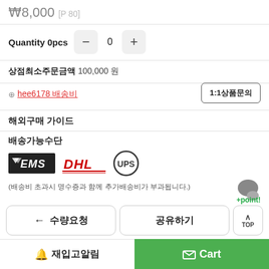₩8,000 [P 80]
Quantity 0pcs  −  0  +
상점최소주문금액 100,000 원
hee6178 배송비
1:1상품문의
해외구매 가이드
배송가능수단
[Figure (logo): EMS, DHL, UPS shipping carrier logos]
(배송비 초과시 명수증과 함께 추가배송비가 부과됩니다.)
+point!
← 수량요청
공유하기
TOP
[Figure (screenshot): PayPal and phone icon strip at bottom]
재입고알림
Cart